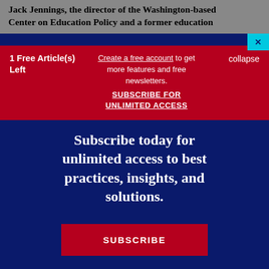Jack Jennings, the director of the Washington-based Center on Education Policy and a former education
1 Free Article(s) Left
Create a free account to get more features and free newsletters.
SUBSCRIBE FOR UNLIMITED ACCESS
collapse
Subscribe today for unlimited access to best practices, insights, and solutions.
SUBSCRIBE